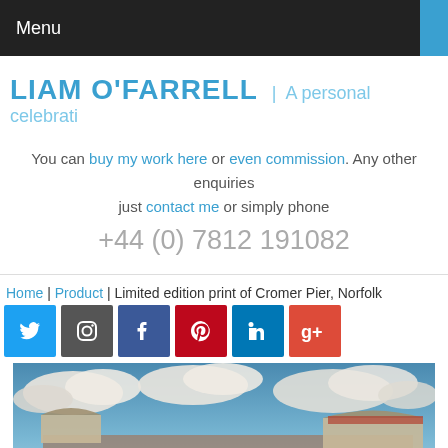Menu
LIAM O'FARRELL | A personal celebrati
You can buy my work here or even commission. Any other enquiries just contact me or simply phone +44 (0) 7812 191082
Home | Product | Limited edition print of Cromer Pier, Norfolk
[Figure (infographic): Social media icons: Twitter, Instagram, Facebook, Pinterest, LinkedIn, Google+]
[Figure (photo): Painting of Cromer Pier, Norfolk – a wide panoramic view showing a Victorian pier extending into the sea with a large cloudy sky above]